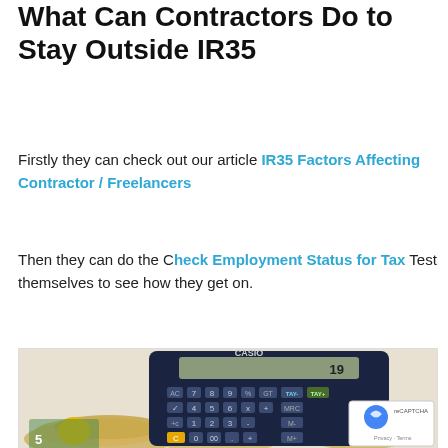What Can Contractors Do to Stay Outside IR35
Firstly they can check out our article IR35 Factors Affecting Contractor / Freelancers
Then they can do the Check Employment Status for Tax Test themselves to see how they get on.
[Figure (photo): A Casio calculator sitting on a pile of euro coins and banknotes, with a reCAPTCHA badge visible in the bottom right corner.]